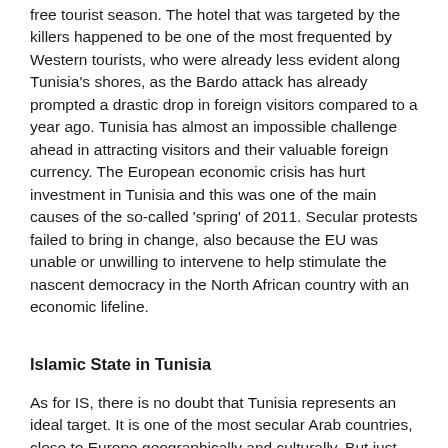free tourist season. The hotel that was targeted by the killers happened to be one of the most frequented by Western tourists, who were already less evident along Tunisia's shores, as the Bardo attack has already prompted a drastic drop in foreign visitors compared to a year ago. Tunisia has almost an impossible challenge ahead in attracting visitors and their valuable foreign currency. The European economic crisis has hurt investment in Tunisia and this was one of the main causes of the so-called 'spring' of 2011. Secular protests failed to bring in change, also because the EU was unable or unwilling to intervene to help stimulate the nascent democracy in the North African country with an economic lifeline.
Islamic State in Tunisia
As for IS, there is no doubt that Tunisia represents an ideal target. It is one of the most secular Arab countries, close to Europe geographically and culturally. But just how much of a threat is Islamic State in Tunisia? Does IS, borne out of the flawed social reintegration under the Shiite-dominated government in Baghdad after a disastrous US war, finding fertile ground in the Tunisian the so-called democracy in North